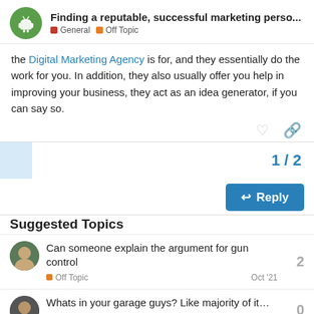Finding a reputable, successful marketing perso...
the Digital Marketing Agency is for, and they essentially do the work for you. In addition, they also usually offer you help in improving your business, they act as an idea generator, if you can say so.
1 / 2
Reply
Suggested Topics
Can someone explain the argument for gun control
Off Topic  Oct '21  2
Whats in your garage guys? Like majority of it…
0